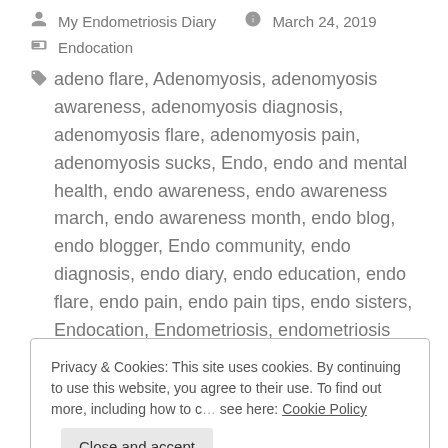My Endometriosis Diary   March 24, 2019
Endocation
adeno flare, Adenomyosis, adenomyosis awareness, adenomyosis diagnosis, adenomyosis flare, adenomyosis pain, adenomyosis sucks, Endo, endo and mental health, endo awareness, endo awareness march, endo awareness month, endo blog, endo blogger, Endo community, endo diagnosis, endo diary, endo education, endo flare, endo pain, endo pain tips, endo sisters, Endocation, Endometriosis, endometriosis and fertility, endometriosis awareness,
Privacy & Cookies: This site uses cookies. By continuing to use this website, you agree to their use. To find out more, including how to c… see here: Cookie Policy
endometriosis myths, endometriosis pain